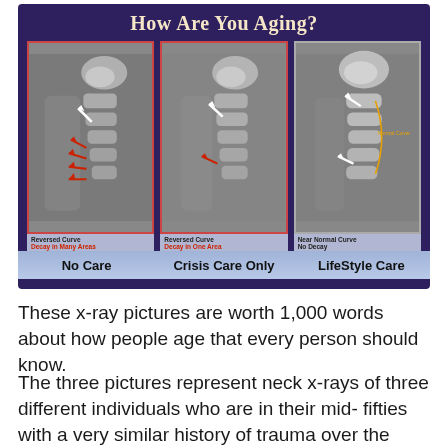[Figure (infographic): Medical infographic titled 'How Are You Aging?' showing three neck x-ray images side by side. Left image labeled 'No Care' showing Reversed Curve and Decay in Many Areas (red arrows). Middle image labeled 'Crisis Care Only' showing Reversed Curve and Decay in One Area. Right image labeled 'Lifestyle Care' showing Near Normal Curve and No Decay.]
These x-ray pictures are worth 1,000 words about how people age that every person should know.
The three pictures represent neck x-rays of three different individuals who are in their mid- fifties with a very similar history of trauma over the years including mild sports injuries, car accidents, and